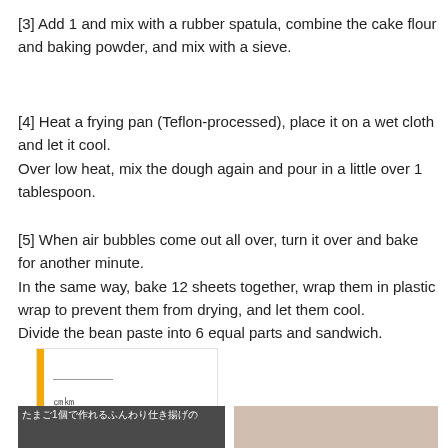[3] Add 1 and mix with a rubber spatula, combine the cake flour and baking powder, and mix with a sieve.
[4] Heat a frying pan (Teflon-processed), place it on a wet cloth and let it cool.
Over low heat, mix the dough again and pour in a little over 1 tablespoon.
[5] When air bubbles come out all over, turn it over and bake for another minute.
In the same way, bake 12 sheets together, wrap them in plastic wrap to prevent them from drying, and let them cool.
Divide the bean paste into 6 equal parts and sandwich.
[Figure (other): A thumbnail card with a yellow left border, a horizontal line, and Japanese characters at the bottom left.]
[Figure (photo): A food-related image with Japanese text overlay at the bottom left.]
[Figure (photo): A partial food-related image on the right side.]